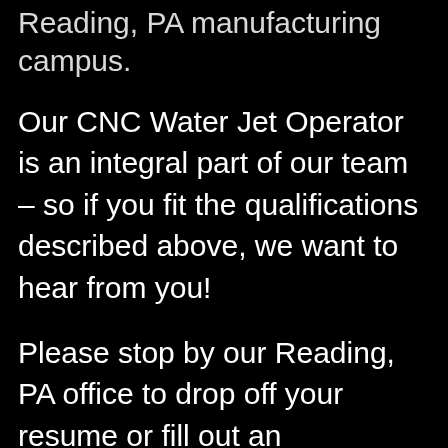Reading, PA manufacturing campus.
Our CNC Water Jet Operator is an integral part of our team – so if you fit the qualifications described above, we want to hear from you!
Please stop by our Reading, PA office to drop off your resume or fill out an application. Thank you for your interest, we look forward to meeting you.
How to apply: